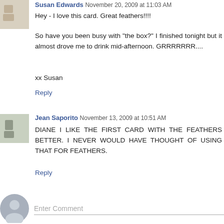Hey - I love this card. Great feathers!!!!
So have you been busy with "the box?" I finished tonight but it almost drove me to drink mid-afternoon. GRRRRRRR....
xx Susan
Reply
Jean Saporito November 13, 2009 at 10:51 AM
DIANE I LIKE THE FIRST CARD WITH THE FEATHERS BETTER. I NEVER WOULD HAVE THOUGHT OF USING THAT FOR FEATHERS.
Reply
Enter Comment